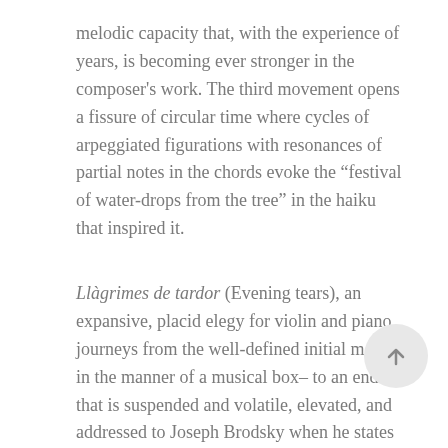melodic capacity that, with the experience of years, is becoming ever stronger in the composer's work. The third movement opens a fissure of circular time where cycles of arpeggiated figurations with resonances of partial notes in the chords evoke the “festival of water-drops from the tree” in the haiku that inspired it.
Llàgrimes de tardor (Evening tears), an expansive, placid elegy for violin and piano, journeys from the well-defined initial motif –in the manner of a musical box– to an ending that is suspended and volatile, elevated, and addressed to Joseph Brodsky when he states that “a